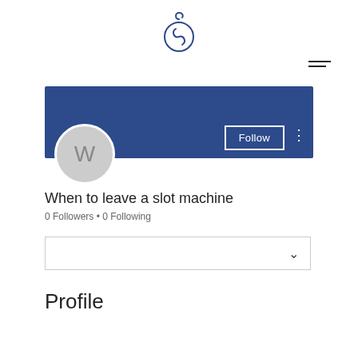[Figure (logo): Circular logo with a stylized figure/letter inside, dark blue outline]
[Figure (other): Hamburger menu icon with two horizontal lines]
[Figure (other): Dark blue banner header area for a user profile page]
[Figure (other): Grey circular avatar with letter W]
Follow
When to leave a slot machine
0 Followers • 0 Following
[Figure (other): Dropdown box with chevron arrow]
Profile